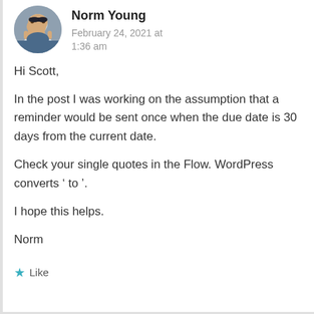Norm Young — February 24, 2021 at 1:36 am
Hi Scott,

In the post I was working on the assumption that a reminder would be sent once when the due date is 30 days from the current date.

Check your single quotes in the Flow. WordPress converts ‘ to ’.

I hope this helps.

Norm
★ Like